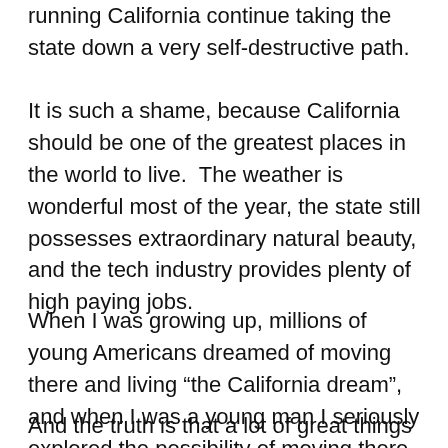running California continue taking the state down a very self-destructive path.
It is such a shame, because California should be one of the greatest places in the world to live.  The weather is wonderful most of the year, the state still possesses extraordinary natural beauty, and the tech industry provides plenty of high paying jobs.
When I was growing up, millions of young Americans dreamed of moving there and living “the California dream”, and when I was a young man I seriously explored the possibility of moving there myself.
And the truth is that a lot of great things have come out of the state.  The following comes